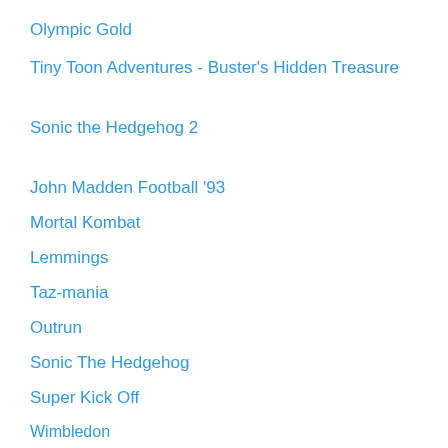Olympic Gold
Tiny Toon Adventures - Buster's Hidden Treasure
Sonic the Hedgehog 2
John Madden Football '93
Mortal Kombat
Lemmings
Taz-mania
Outrun
Sonic The Hedgehog
Super Kick Off
Wimbledon
Kid Chameleon
Wheel of Fortune (Genesis)